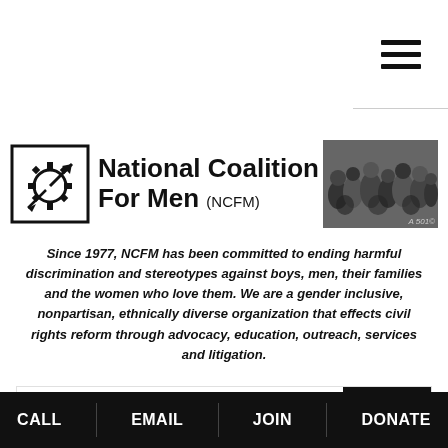[Figure (logo): National Coalition For Men (NCFM) logo with gear/symbol icon and group photo]
Since 1977, NCFM has been committed to ending harmful discrimination and stereotypes against boys, men, their families and the women who love them. We are a gender inclusive, nonpartisan, ethnically diverse organization that effects civil rights reform through advocacy, education, outreach, services and litigation.
Uncategorized
NCFM President Harry Crouch
CALL | EMAIL | JOIN | DONATE